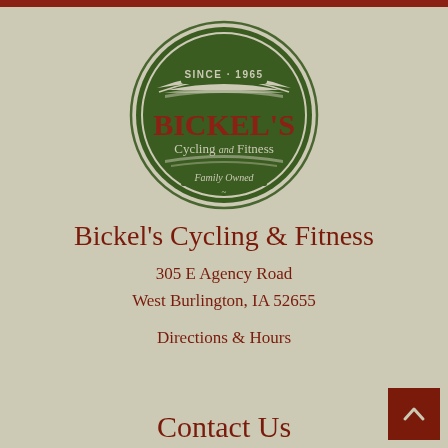[Figure (logo): Bickel's Cycling and Fitness circular logo with dark green background, red lettering reading BICKEL'S Cycling and Fitness, SINCE 1965 at top, Family Owned at bottom]
Bickel's Cycling & Fitness
305 E Agency Road
West Burlington, IA 52655
Directions & Hours
Contact Us